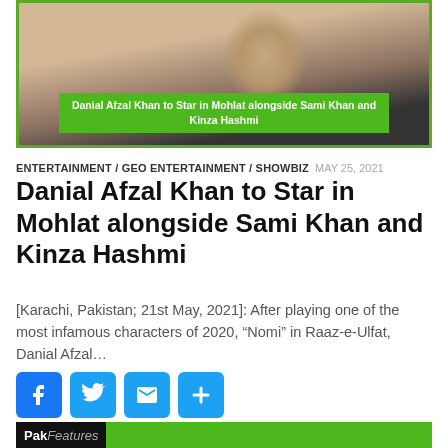[Figure (photo): Man on a motorcycle with a green banner overlay reading 'Danial Afzal Khan to Star in Mohlat alongside Sami Khan and Kinza Hashmi']
Danial Afzal Khan to Star in Mohlat alongside Sami Khan and Kinza Hashmi
ENTERTAINMENT / GEO ENTERTAINMENT / SHOWBIZ  MAY 25, 2021
Danial Afzal Khan to Star in Mohlat alongside Sami Khan and Kinza Hashmi
[Karachi, Pakistan; 21st May, 2021]: After playing one of the most infamous characters of 2020, “Nomi” in Raaz-e-Ulfat, Danial Afzal…
[Figure (infographic): Social sharing buttons: Facebook, Twitter, Email, Plus/More]
[Figure (logo): Pak Features logo bar at bottom]